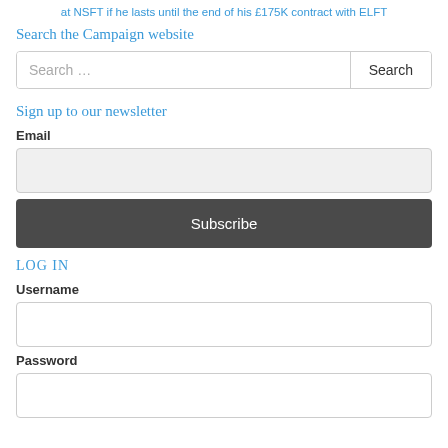at NSFT if he lasts until the end of his £175K contract with ELFT
Search the Campaign website
[Figure (screenshot): Search input box with placeholder text 'Search ...' and a Search button]
Sign up to our newsletter
Email
[Figure (screenshot): Email input field (light grey background)]
[Figure (screenshot): Subscribe button (dark grey background, white text)]
LOG IN
Username
[Figure (screenshot): Username input field (white background)]
Password
[Figure (screenshot): Password input field (white background)]